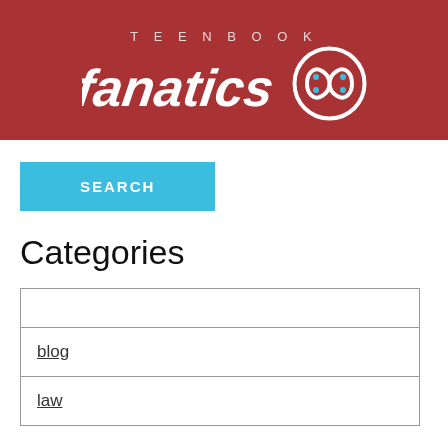[Figure (logo): Teenbook Fanatics logo on dark red banner background with stylized fanatics text and infinity-like emblem]
SEARCH
Categories
|  |
| blog |
| law |
Archive